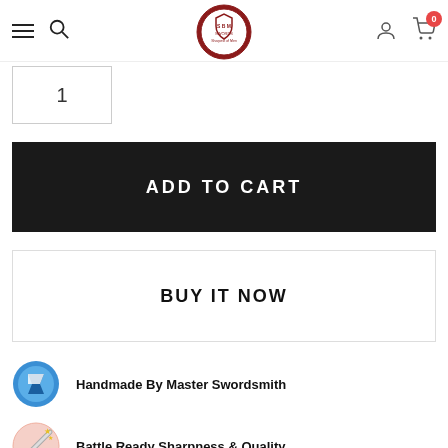Navigation header with hamburger menu, search, logo, user icon, and cart (0)
1
ADD TO CART
BUY IT NOW
Handmade By Master Swordsmith
Battle Ready Sharpness & Quality
Fast Worldwide Shipping